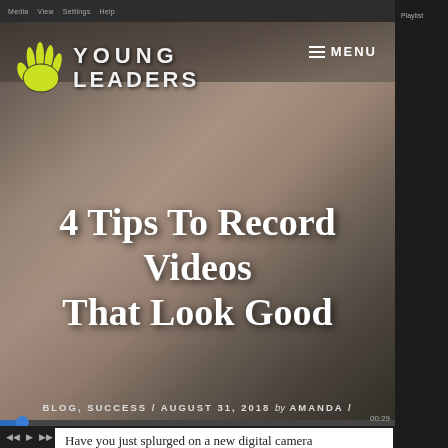Young Leaders — website header with navigation
[Figure (screenshot): Screenshot of a website/video player showing a family watching TV on a couch, with the Young Leaders logo overlaid on the hero image]
4 Tips To Record Videos That Look Good
BLOG, SUCCESS / AUGUST 31, 2018 by AMANDA / LEAVE A COMMENT
Have you just splurged on a new digital camera